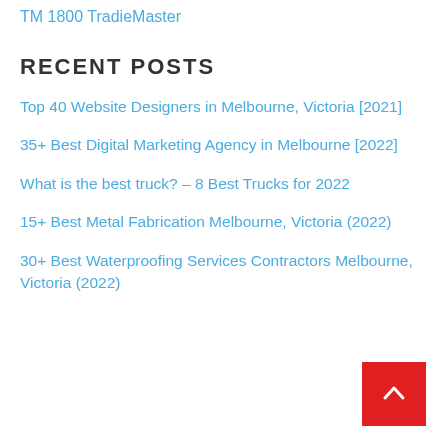TM 1800 TradieMaster
RECENT POSTS
Top 40 Website Designers in Melbourne, Victoria [2021]
35+ Best Digital Marketing Agency in Melbourne [2022]
What is the best truck? – 8 Best Trucks for 2022
15+ Best Metal Fabrication Melbourne, Victoria (2022)
30+ Best Waterproofing Services Contractors Melbourne, Victoria (2022)